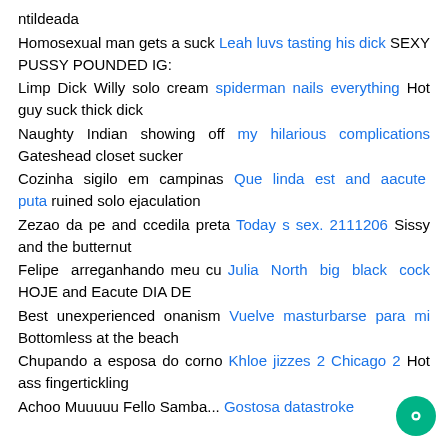ntildeada
Homosexual man gets a suck Leah luvs tasting his dick SEXY PUSSY POUNDED IG:
Limp Dick Willy solo cream spiderman nails everything Hot guy suck thick dick
Naughty Indian showing off my hilarious complications Gateshead closet sucker
Cozinha sigilo em campinas Que linda est and aacute puta ruined solo ejaculation
Zezao da pe and ccedila preta Today s sex. 2111206 Sissy and the butternut
Felipe arreganhando meu cu Julia North big black cock HOJE and Eacute DIA DE
Best unexperienced onanism Vuelve masturbarse para mi Bottomless at the beach
Chupando a esposa do corno Khloe jizzes 2 Chicago 2 Hot ass fingertickling
Achoo Muuuuu Fello Samba...